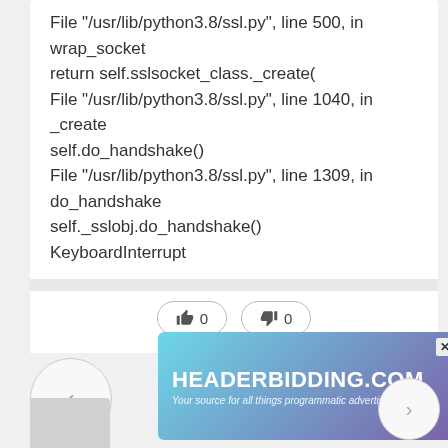File "/usr/lib/python3.8/ssl.py", line 500, in wrap_socket
return self.sslsocket_class._create(
File "/usr/lib/python3.8/ssl.py", line 1040, in _create
self.do_handshake()
File "/usr/lib/python3.8/ssl.py", line 1309, in do_handshake
self._sslobj.do_handshake()
KeyboardInterrupt
[Figure (other): Thumbs up vote button with count 0 and thumbs down vote button with count 0, and an X close circle button]
[Figure (other): Advertisement banner for HEADERBIDDING.COM with tagline 'Your source for all things programmatic advertising.' on a teal/purple gradient background]